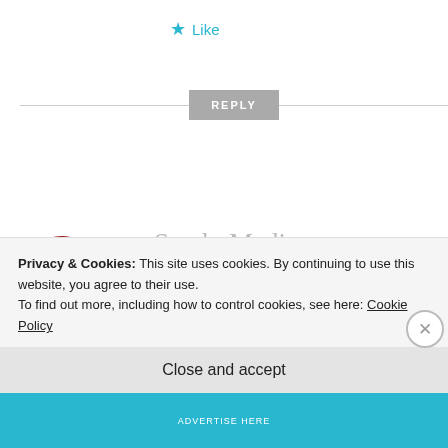★ Like
REPLY
[Figure (logo): SM logo with red hat on S, large decorative S and M letters in black]
Sarah_Madison
15 MAY 2014 AT 3:35 PM
Privacy & Cookies: This site uses cookies. By continuing to use this website, you agree to their use.
To find out more, including how to control cookies, see here: Cookie Policy
Close and accept